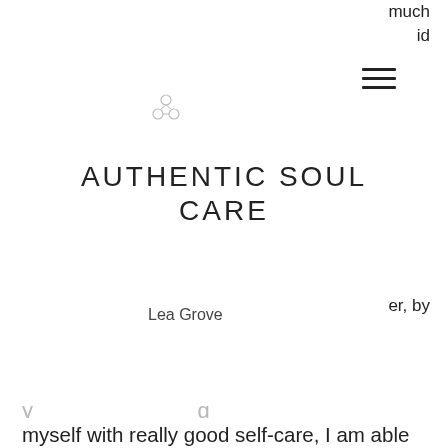much
id
AUTHENTIC SOUL CARE
er, by
Lea Grove
myself with really good self-care, I am able to show up as my highest self and to move through whatever situation I'm going through with grace and dignity.
Don't get me wrong, there are days where I still struggle. We all do! ~Let's normalize showing up as our